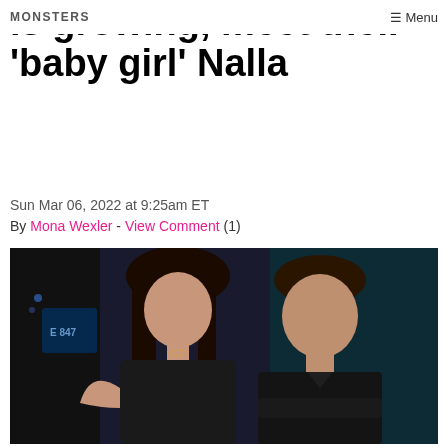MONSTERS  Menu
is growing, meet their ‘baby girl’ Nalla
Sun Mar 06, 2022 at 9:25am ET
By Mona Wexler - View Comment (1)
[Figure (photo): A young woman with long dark hair wearing a dark top standing next to a young man with short dark hair wearing a dark polo shirt, both looking at the camera in a dimly lit setting.]